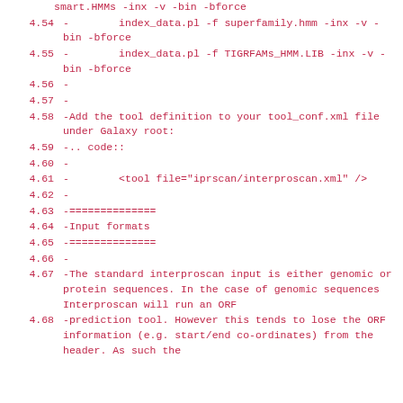smart.HMMs -inx -v -bin -bforce
4.54  -        index_data.pl -f superfamily.hmm -inx -v -bin -bforce
4.55  -        index_data.pl -f TIGRFAMs_HMM.LIB -inx -v -bin -bforce
4.56  -
4.57  -
4.58  -Add the tool definition to your tool_conf.xml file under Galaxy root:
4.59  -.. code::
4.60  -
4.61  -        <tool file="iprscan/interproscan.xml" />
4.62  -
4.63  -==============
4.64  -Input formats
4.65  -==============
4.66  -
4.67  -The standard interproscan input is either genomic or protein sequences. In the case of genomic sequences Interproscan will run an ORF
4.68  -prediction tool. However this tends to lose the ORF information (e.g. start/end co-ordinates) from the header. As such the